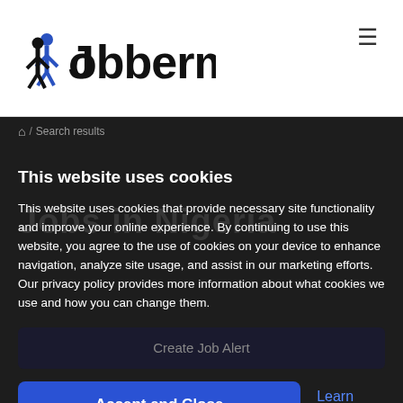Jobberman
/ Search results
This website uses cookies
This website uses cookies that provide necessary site functionality and improve your online experience. By continuing to use this website, you agree to the use of cookies on your device to enhance navigation, analyze site usage, and assist in our marketing efforts. Our privacy policy provides more information about what cookies we use and how you can change them.
Create Job Alert
Accept and Close
Learn More